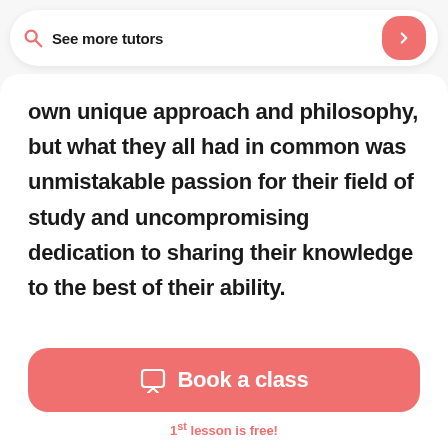See more tutors
own unique approach and philosophy, but what they all had in common was unmistakable passion for their field of study and uncompromising dedication to sharing their knowledge to the best of their ability.
Book a class
1st lesson is free!